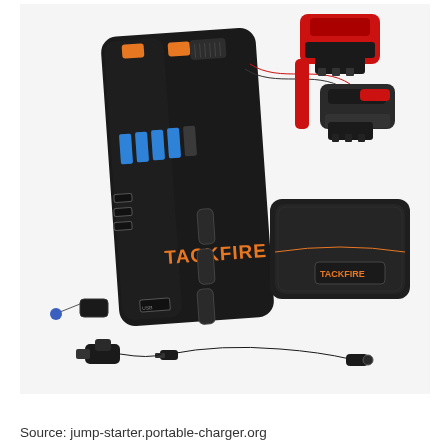[Figure (photo): A Tackfire portable car jump starter battery pack shown standing upright with red and black jumper clamps attached. Also shown in the image: accessories including a carrying case with orange zipper, a car charger cable, a DC charging cable, and a cigarette lighter adapter. The jump starter has blue LED battery indicator lights and orange accent buttons on a black rubberized body with the TACKFIRE logo.]
Source: jump-starter.portable-charger.org